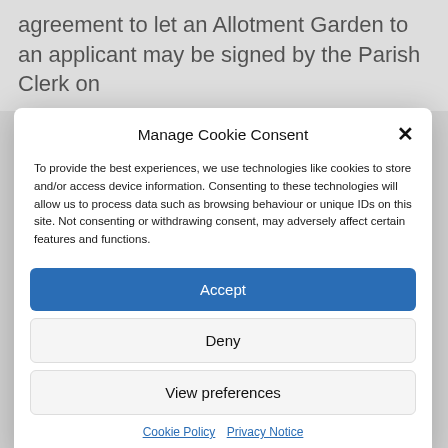agreement to let an Allotment Garden to an applicant may be signed by the Parish Clerk on
Manage Cookie Consent
To provide the best experiences, we use technologies like cookies to store and/or access device information. Consenting to these technologies will allow us to process data such as browsing behaviour or unique IDs on this site. Not consenting or withdrawing consent, may adversely affect certain features and functions.
Accept
Deny
View preferences
Cookie Policy  Privacy Notice